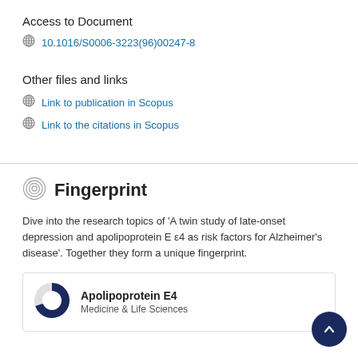Access to Document
10.1016/S0006-3223(96)00247-8
Other files and links
Link to publication in Scopus
Link to the citations in Scopus
Fingerprint
Dive into the research topics of 'A twin study of late-onset depression and apolipoprotein E ε4 as risk factors for Alzheimer's disease'. Together they form a unique fingerprint.
Apolipoprotein E4
Medicine & Life Sciences